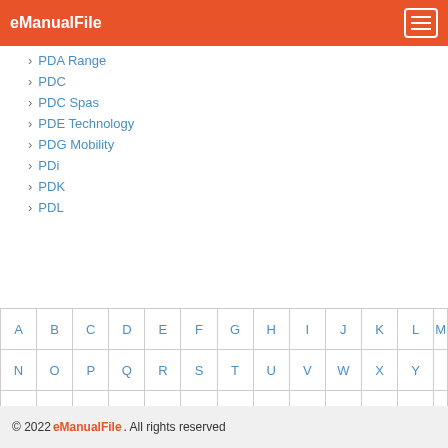eManualFile
PDA Range
PDC
PDC Spas
PDE Technology
PDG Mobility
PDi
PDK
PDL
| A | B | C | D | E | F | G | H | I | J | K | L | M |
| N | O | P | Q | R | S | T | U | V | W | X | Y |  |
| Z |  |  |  |  |  |  |  |  |  |  |  |  |
© 2022 eManualFile. All rights reserved